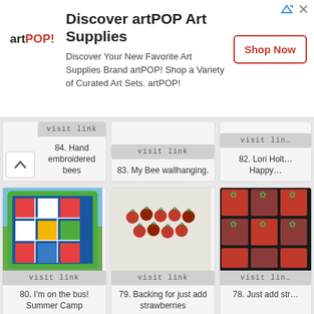[Figure (screenshot): artPOP! advertisement banner with logo, text, and Shop Now button]
Discover artPOP Art Supplies
Discover Your New Favorite Art Supplies Brand artPOP! Shop a Variety of Curated Art Sets. artPOP!
84. Hand embroidered bees
83. My Bee wallhanging.
82. Lori Holt Happy
[Figure (photo): Colorful patchwork quilt displayed outdoors on green grass, blue and multicolor pattern]
80. I'm on the bus! Summer Camp completed using a bundle of Five and Ten by DSchmidt
[Figure (photo): White fabric with strawberry appliques arranged in rows]
79. Backing for just add strawberries
[Figure (photo): Quilt with large red strawberry blocks pattern, partially visible]
78. Just add str